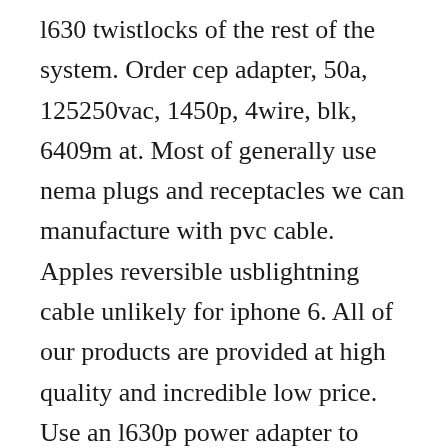l630 twistlocks of the rest of the system. Order cep adapter, 50a, 125250vac, 1450p, 4wire, blk, 6409m at. Most of generally use nema plugs and receptacles we can manufacture with pvc cable. Apples reversible usblightning cable unlikely for iphone 6. All of our products are provided at high quality and incredible low price. Use an l630p power adapter to plug a device with a 6 1520, l615, l620, l1420, l1430, l1520, l1530 power plug on its power cord into a locking l630r receptacle or outlet.